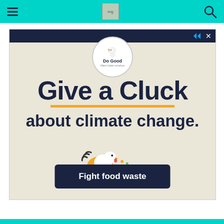Navigation bar with hamburger menu, logo, and search icon
[Figure (infographic): Advertisement for 'Do Good' brand. Features a circular logo with a bird/chicken icon and text 'Do Good'. Large bold headline reads 'Give a Cluck about climate change.' with an orange underline. A cartoon chicken illustration is shown. A dark navy button reads 'Fight food waste'. Background is a light beige/cream color with a dark navy top bar.]